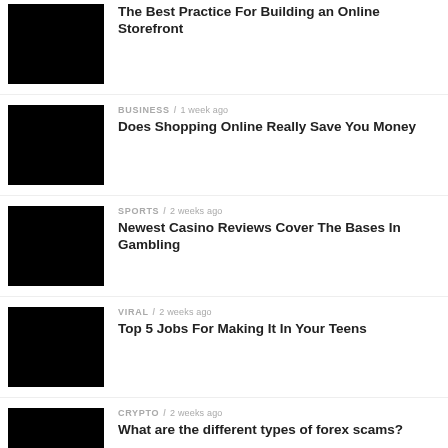The Best Practice For Building an Online Storefront
BUSINESS / 1 week ago
Does Shopping Online Really Save You Money
SPORTS / 2 weeks ago
Newest Casino Reviews Cover The Bases In Gambling
VIRAL / 2 weeks ago
Top 5 Jobs For Making It In Your Teens
CRYPTO / 2 weeks ago
What are the different types of forex scams?